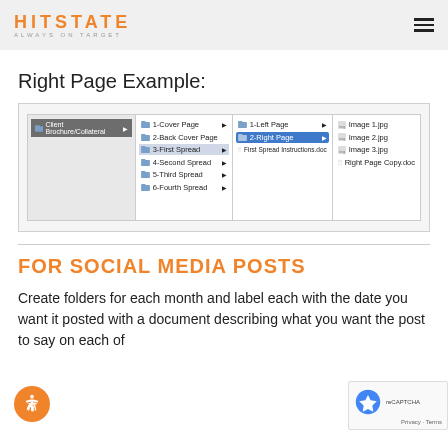HITSTATE ALWAYS ON TARGET
Right Page Example:
[Figure (screenshot): macOS Finder column view showing folder hierarchy: Client Brochure/Collateral > 1-Cover Page, 2-Back Cover Page, 3-First Spread (highlighted), 4-Second Spread, 5-Third Spread, 6-Fourth Spread > 1-Left Page, 2-Right Page (selected/blue), First Spread Instructions.doc > Image 1.jpg, Image 2.jpg, Image 3.jpg, Right Page Copy.doc]
FOR SOCIAL MEDIA POSTS
Create folders for each month and label each with the date you want it posted with a document describing what you want the post to say on each of